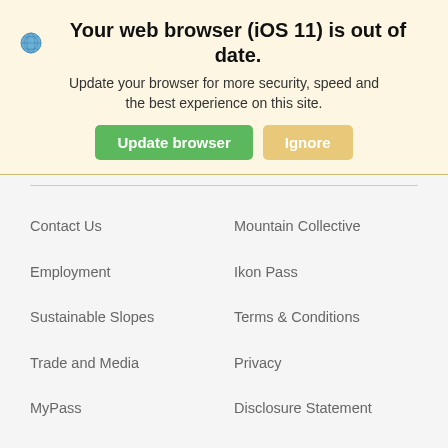Your web browser (iOS 11) is out of date.
Update your browser for more security, speed and the best experience on this site.
Contact Us
Mountain Collective
Employment
Ikon Pass
Sustainable Slopes
Terms & Conditions
Trade and Media
Privacy
MyPass
Disclosure Statement
Superpass
Instructor Training Programme